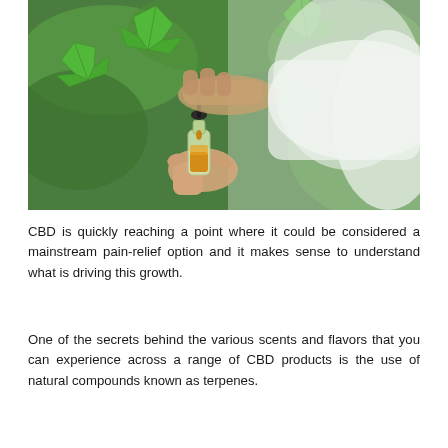[Figure (photo): A person in a white lab coat holding a small glass bottle containing golden/amber colored CBD oil with a dropper pipette, with green cannabis/hemp leaves visible in the background.]
CBD is quickly reaching a point where it could be considered a mainstream pain-relief option and it makes sense to understand what is driving this growth.
One of the secrets behind the various scents and flavors that you can experience across a range of CBD products is the use of natural compounds known as terpenes.